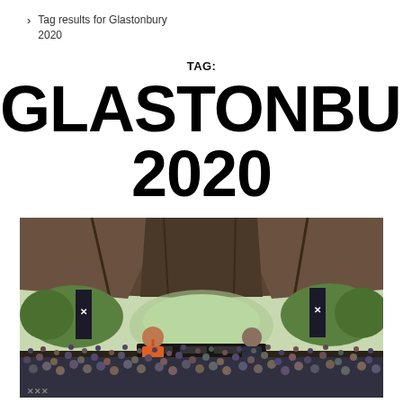> Tag results for Glastonbury 2020
TAG:
GLASTONBURY 2020
[Figure (photo): A DJ performing on stage under a large urban bridge/overpass structure, with a massive crowd of festival-goers in the foreground. Green trees are visible in the background. Banner flags with an X logo hang from the structure. The performer on the left is wearing an orange jacket.]